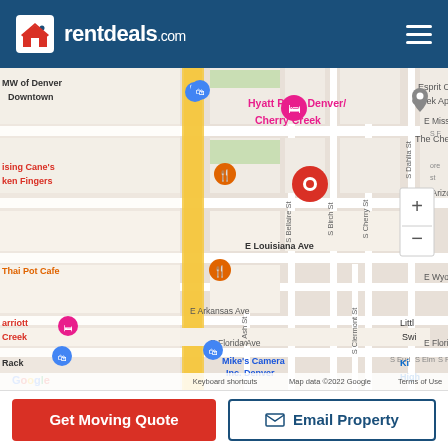rentdeals.com
[Figure (map): Google Maps screenshot showing Cherry Creek area of Denver, Colorado. Visible landmarks include Hyatt Place Denver/Cherry Creek (pink marker), Esprit Cherry Creek Apartments (gray marker), Mike's Camera Inc. Denver (blue marker), Thai Pot Cafe (orange fork/knife marker), a red location pin on S Cherry St near E Louisiana Ave. Streets visible: S Bellaire St, S Birch St, S Cherry St, S Dahlia St, E Missouri Ave, E Arizona Ave, E Louisiana Ave, E Wyoming Pl, E Arkansas Ave, S Ash St, S Clermont St, E Florida Ave. Map data ©2022 Google, Keyboard shortcuts, Terms of Use shown at bottom.]
Get Moving Quote
Email Property